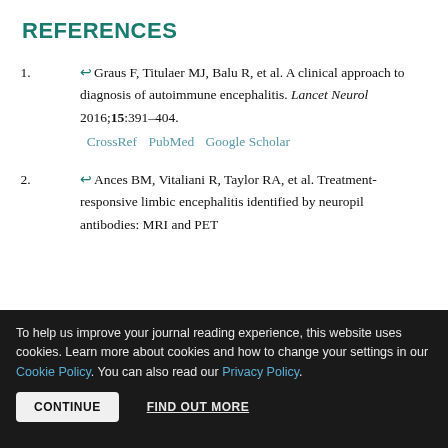REFERENCES
Graus F, Titulaer MJ, Balu R, et al. A clinical approach to diagnosis of autoimmune encephalitis. Lancet Neurol 2016;15:391–404. CrossRef PubMed Google Scholar
Ances BM, Vitaliani R, Taylor RA, et al. Treatment-responsive limbic encephalitis identified by neuropil antibodies: MRI and PET
To help us improve your journal reading experience, this website uses cookies. Learn more about cookies and how to change your settings in our Cookie Policy. You can also read our Privacy Policy.